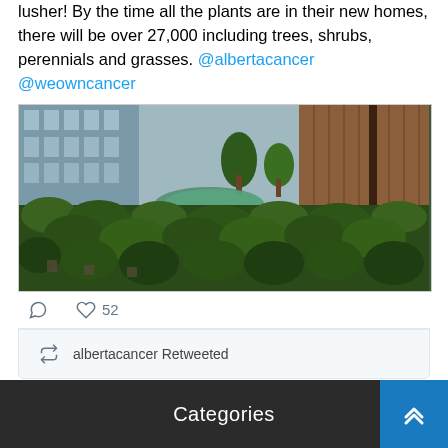lusher! By the time all the plants are in their new homes, there will be over 27,000 including trees, shrubs, perennials and grasses. @albertacancer @weowncancer
[Figure (photo): Outdoor garden area with many plants, trees, shrubs in front of a glass building facade and a wooden wall structure. There is a tarp visible in the middle of the plants.]
52 (likes)
albertacancer Retweeted
Categories